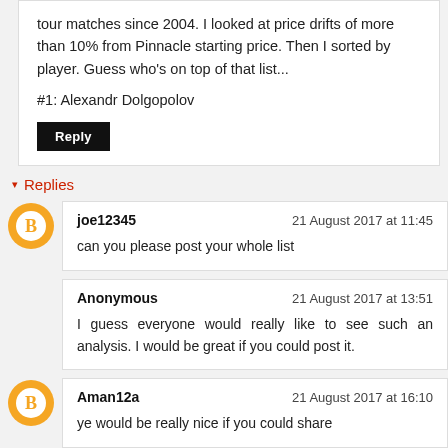tour matches since 2004. I looked at price drifts of more than 10% from Pinnacle starting price. Then I sorted by player. Guess who's on top of that list...
#1: Alexandr Dolgopolov
Reply
Replies
joe12345 — 21 August 2017 at 11:45 — can you please post your whole list
Anonymous — 21 August 2017 at 13:51 — I guess everyone would really like to see such an analysis. I would be great if you could post it.
Aman12a — 21 August 2017 at 16:10 — ye would be really nice if you could share